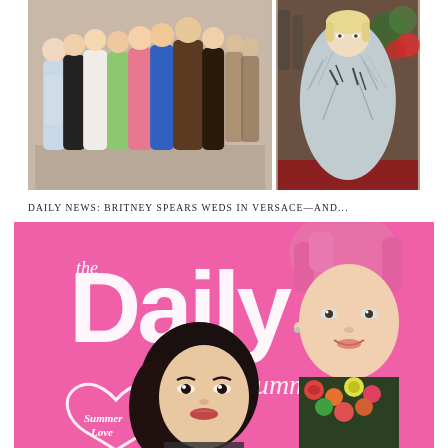[Figure (photo): Group photo of several women in formal gowns posing together at an event, warm beige/pink background]
[Figure (photo): Woman in a feathered/textured cape-style outfit posing on a red carpet with photographers in background]
DAILY NEWS: BRITNEY SPEARS WEDS IN VERSACE—AND...
[Figure (photo): Magazine cover of 'the Daily' summer issue with hot pink background, showing a man with pink hair in a floral outfit and a dark-haired woman, with 'Summer Love' text and a heart graphic]